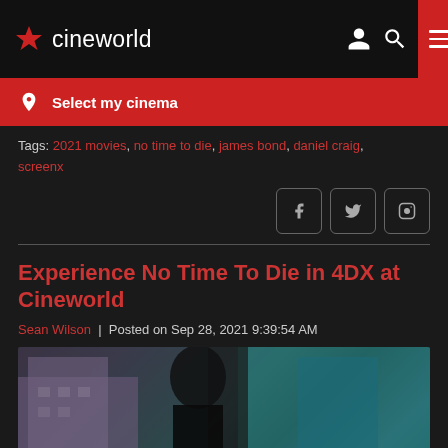cineworld
Select my cinema
Tags: 2021 movies, no time to die, james bond, daniel craig, screenx
Experience No Time To Die in 4DX at Cineworld
Sean Wilson | Posted on Sep 28, 2021 9:39:54 AM
[Figure (photo): A woman in a dark outfit standing in front of buildings, film still from No Time To Die]